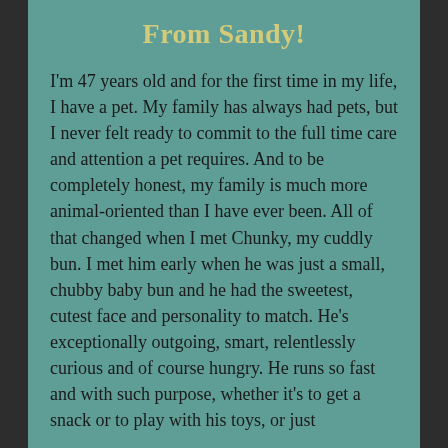From Sandy!
I'm 47 years old and for the first time in my life, I have a pet. My family has always had pets, but I never felt ready to commit to the full time care and attention a pet requires. And to be completely honest, my family is much more animal-oriented than I have ever been. All of that changed when I met Chunky, my cuddly bun. I met him early when he was just a small, chubby baby bun and he had the sweetest, cutest face and personality to match. He's exceptionally outgoing, smart, relentlessly curious and of course hungry. He runs so fast and with such purpose, whether it's to get a snack or to play with his toys, or just